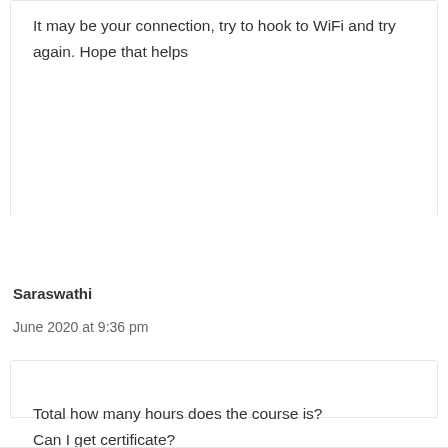It may be your connection, try to hook to WiFi and try again. Hope that helps
Saraswathi
June 2020 at 9:36 pm
Total how many hours does the course is? Can I get certificate?